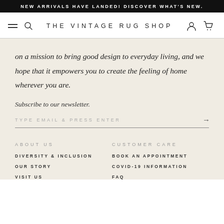NEW ARRIVALS HAVE LANDED! DISCOVER WHAT'S NEW.
[Figure (screenshot): Navigation bar with hamburger menu, search icon, THE VINTAGE RUG SHOP logo, user icon, and cart icon]
on a mission to bring good design to everyday living, and we hope that it empowers you to create the feeling of home wherever you are.
Subscribe to our newsletter.
TYPE EMAIL & PRESS ENTER →
ABOUT US
DIVERSITY & INCLUSION
OUR STORY
VISIT US
CUSTOMER CARE
BOOK AN APPOINTMENT
COVID-19 INFORMATION
FAQ